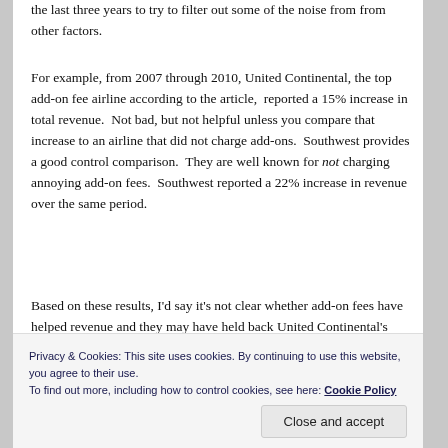the last three years to try to filter out some of the noise from from other factors.
For example, from 2007 through 2010, United Continental, the top add-on fee airline according to the article, reported a 15% increase in total revenue. Not bad, but not helpful unless you compare that increase to an airline that did not charge add-ons. Southwest provides a good control comparison. They are well known for not charging annoying add-on fees. Southwest reported a 22% increase in revenue over the same period.
Based on these results, I'd say it's not clear whether add-on fees have helped revenue and they may have held back United Continental's revenue given that Southwest
Privacy & Cookies: This site uses cookies. By continuing to use this website, you agree to their use.
To find out more, including how to control cookies, see here: Cookie Policy